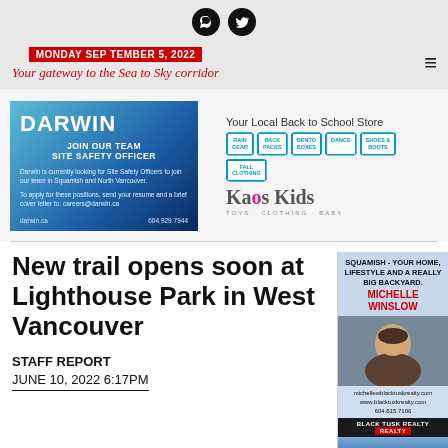MONDAY SEPTEMBER 5, 2022 | Your gateway to the Sea to Sky corridor
[Figure (advertisement): Darwin - Join Our Team Site Safety Officer advertisement with blue gradient background]
[Figure (advertisement): Kaos Kids - Your Local Back to School Store advertisement with product bubbles]
New trail opens soon at Lighthouse Park in West Vancouver
STAFF REPORT
JUNE 10, 2022 6:17PM
[Figure (advertisement): Michelle Winslow - Squamish Your Home Lifestyle and a Really Big Backyard real estate advertisement]